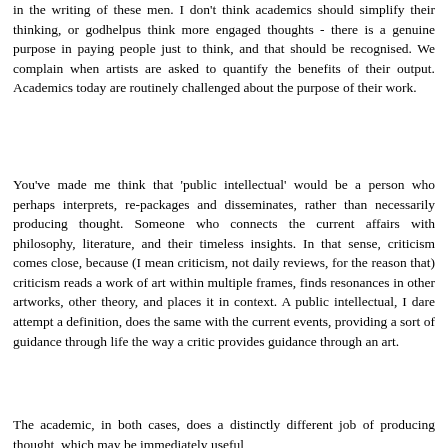in the writing of these men. I don't think academics should simplify their thinking, or godhelpus think more engaged thoughts - there is a genuine purpose in paying people just to think, and that should be recognised. We complain when artists are asked to quantify the benefits of their output. Academics today are routinely challenged about the purpose of their work.
You've made me think that 'public intellectual' would be a person who perhaps interprets, re-packages and disseminates, rather than necessarily producing thought. Someone who connects the current affairs with philosophy, literature, and their timeless insights. In that sense, criticism comes close, because (I mean criticism, not daily reviews, for the reason that) criticism reads a work of art within multiple frames, finds resonances in other artworks, other theory, and places it in context. A public intellectual, I dare attempt a definition, does the same with the current events, providing a sort of guidance through life the way a critic provides guidance through an art.
The academic, in both cases, does a distinctly different job of producing thought, which may be immediately useful